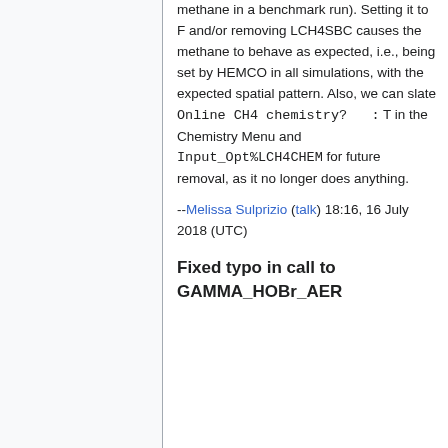methane in a benchmark run). Setting it to F and/or removing LCH4SBC causes the methane to behave as expected, i.e., being set by HEMCO in all simulations, with the expected spatial pattern. Also, we can slate Online CH4 chemistry?   : T in the Chemistry Menu and Input_Opt%LCH4CHEM for future removal, as it no longer does anything.
--Melissa Sulprizio (talk) 18:16, 16 July 2018 (UTC)
Fixed typo in call to GAMMA_HOBr_AER